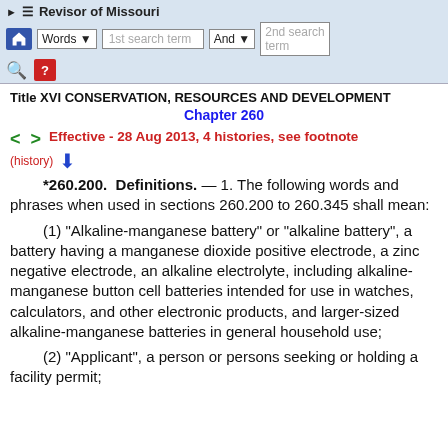Revisor of Missouri — navigation bar with search
Title XVI CONSERVATION, RESOURCES AND DEVELOPMENT
Chapter 260
Effective - 28 Aug 2013, 4 histories, see footnote (history)
*260.200. Definitions. — 1. The following words and phrases when used in sections 260.200 to 260.345 shall mean:
(1) "Alkaline-manganese battery" or "alkaline battery", a battery having a manganese dioxide positive electrode, a zinc negative electrode, an alkaline electrolyte, including alkaline-manganese button cell batteries intended for use in watches, calculators, and other electronic products, and larger-sized alkaline-manganese batteries in general household use;
(2) "Applicant", a person or persons seeking or holding a facility permit;